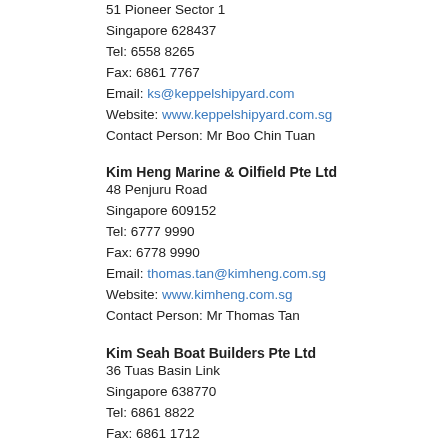51 Pioneer Sector 1
Singapore 628437
Tel: 6558 8265
Fax: 6861 7767
Email: ks@keppelshipyard.com
Website: www.keppelshipyard.com.sg
Contact Person: Mr Boo Chin Tuan
Kim Heng Marine & Oilfield Pte Ltd
48 Penjuru Road
Singapore 609152
Tel: 6777 9990
Fax: 6778 9990
Email: thomas.tan@kimheng.com.sg
Website: www.kimheng.com.sg
Contact Person: Mr Thomas Tan
Kim Seah Boat Builders Pte Ltd
36 Tuas Basin Link
Singapore 638770
Tel: 6861 8822
Fax: 6861 1712
Email: sales@kimseah.com.sg
Website: www.kimseah.com.sg
Contact Person: Ms Connie Liew
Lita Ocean Pte Ltd
30 Tuas Basin Link
Lita Building
Singapore 628786